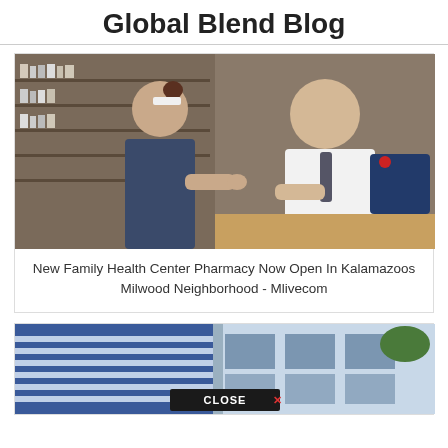Global Blend Blog
[Figure (photo): Pharmacy scene showing a pharmacist in a white lab coat handing something to a female staff member in dark scrubs and a white hat, with shelves of medication in the background and another person visible]
New Family Health Center Pharmacy Now Open In Kalamazoos Milwood Neighborhood - Mlivecom
[Figure (photo): Exterior of a modern building with blue and white horizontal striped paneling and large windows, with a CLOSE X button overlay at the bottom center]